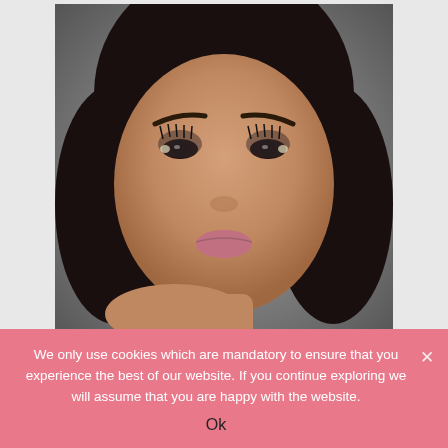[Figure (photo): Close-up photo of a young woman with dramatic eye makeup including heavy mascara, smoky eye with shimmer on inner corner, full dark eyebrows, and mauve/pink lips. She is resting her chin/cheek on her hand against a grey background.]
One of the trends is not doing much makeup on eyelids and just going heavy on mascara. You can create a nude eyelid look and apply a generous amount of mascara or can use fake lashes to create a dramatic, party look. Make
We only use cookies which are mandatory to ensure that you experience the best of our website. If you continue exploring we will assume that you are happy with the website.
Ok